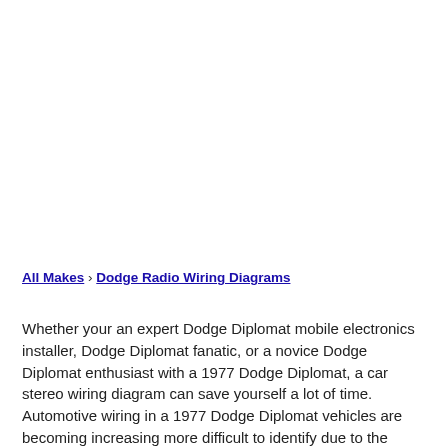All Makes › Dodge Radio Wiring Diagrams
Whether your an expert Dodge Diplomat mobile electronics installer, Dodge Diplomat fanatic, or a novice Dodge Diplomat enthusiast with a 1977 Dodge Diplomat, a car stereo wiring diagram can save yourself a lot of time. Automotive wiring in a 1977 Dodge Diplomat vehicles are becoming increasing more difficult to identify due to the